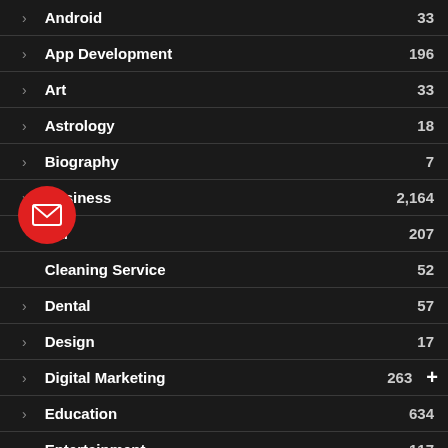Android 33
App Development 196
Art 33
Astrology 18
Biography 7
Business 2,164
Car 207
Cleaning Service 52
Dental 57
Design 17
Digital Marketing 263
Education 634
Entertainment 117
Fashion 262
[Figure (illustration): Red circular email/envelope button overlay on the left side of the list]